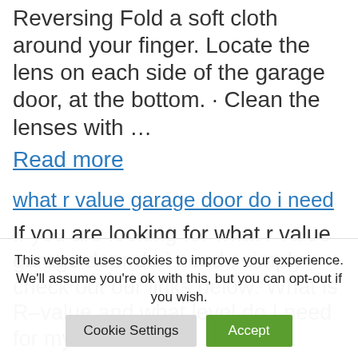Reversing Fold a soft cloth around your finger. Locate the lens on each side of the garage door, at the bottom. · Clean the lenses with ...
Read more
what r value garage door do i need
If you are looking for what r value garage door do i need , simply check out our links below: What is R–value and what level do I need for my
This website uses cookies to improve your experience. We'll assume you're ok with this, but you can opt-out if you wish.
Cookie Settings
Accept